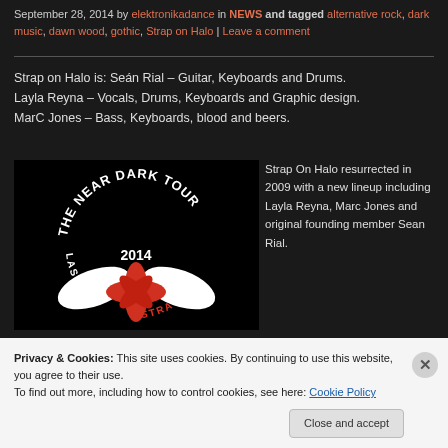September 28, 2014 by elektronikadance in NEWS and tagged alternative rock, dark music, dawn wood, gothic, Strap on Halo | Leave a comment
Strap on Halo is: Seán Rial – Guitar, Keyboards and Drums.
Layla Reyna – Vocals, Drums, Keyboards and Graphic design.
MarC Jones – Bass, Keyboards, blood and beers.
[Figure (illustration): The Near Dark Tour 2014 circular logo with red star graphic and text 'LAST CRY' and 'STRAP ON' on black background]
Strap On Halo resurrected in 2009 with a new lineup including Layla Reyna, Marc Jones and original founding member Sean Rial.
Privacy & Cookies: This site uses cookies. By continuing to use this website, you agree to their use.
To find out more, including how to control cookies, see here: Cookie Policy
Close and accept